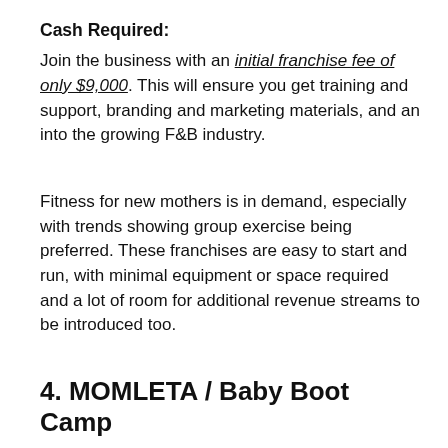Cash Required:
Join the business with an initial franchise fee of only $9,000. This will ensure you get training and support, branding and marketing materials, and an into the growing F&B industry.
Fitness for new mothers is in demand, especially with trends showing group exercise being preferred. These franchises are easy to start and run, with minimal equipment or space required and a lot of room for additional revenue streams to be introduced too.
4. MOMLETA / Baby Boot Camp
MOMLETA's Stroller Fitness program, Baby Boot Camp, is so popular amongst post-natal and new mothers that the franchise is one of the most popular in the market today. Since its inception, Baby Boot